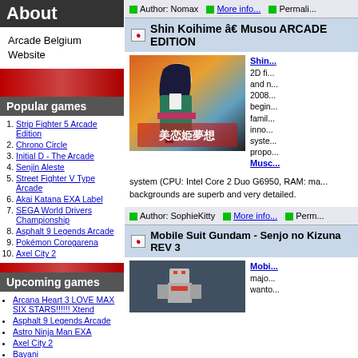About
Arcade Belgium Website
Popular games
Strip Fighter 5 Arcade Edition
Chrono Circle
Initial D - The Arcade
Senjin Aleste
Street Fighter V Type Arcade
Akai Katana EXA Label
SEGA World Drivers Championship
Asphalt 9 Legends Arcade
Pokémon Corogarena
Axel City 2
Upcoming games
Arcana Heart 3 LOVE MAX SIX STARS!!!!!! Xtend
Asphalt 9 Legends Arcade
Astro Ninja Man EXA
Axel City 2
Bayani
Beach Dogs
beatmania IIDX 30 Resident
Bomberman Arcade
Chase Chase Jokers
Daemon Bride exAGAIN
Author: Nomax   More info...   Permalink
Shin Koihime â€ Musou ARCADE EDITION
[Figure (photo): Anime-style fighting game screenshot showing a female character with black hair in traditional Japanese clothing, with Japanese text overlay]
Shin... 2D fi... and n... 2008... begin... famil... inno... syste... propo... Musc... system (CPU: Intel Core 2 Duo G6950, RAM: ma... backgrounds are superb and very detailed.
Author: SophieKitty   More info...   Perm...
Mobile Suit Gundam - Senjo no Kizuna REV 3
[Figure (photo): Mobile Suit Gundam arcade game screenshot showing a robot/mech figure]
Mobi... majo... wanto...